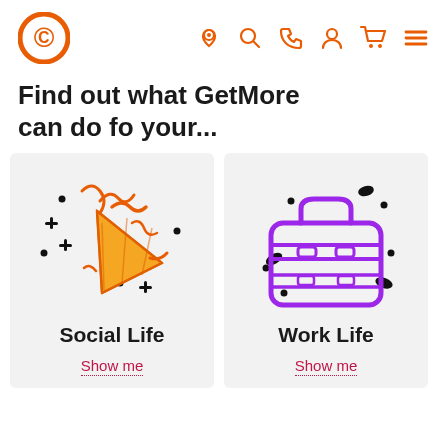[Figure (logo): Orange copyright/C logo circle on left, and navigation icons (location pin, search, phone, user, cart, menu) on right in orange]
Find out what GetMore can do fo your...
[Figure (illustration): Two cards side by side. Left card: orange party popper/confetti icon with black sparkles, labeled 'Social Life' with 'Show me' link. Right card: purple briefcase icon with black sparkles, labeled 'Work Life' with 'Show me' link.]